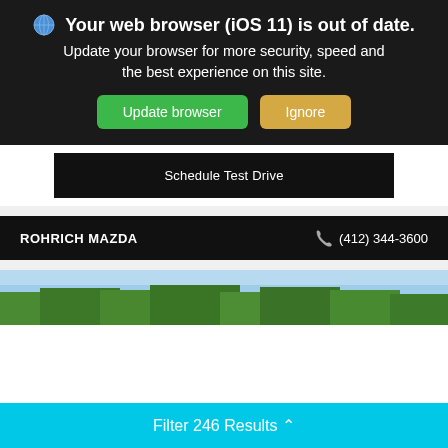Your web browser (iOS 11) is out of date. Update your browser for more security, speed and the best experience on this site.
Update browser
Ignore
Schedule Test Drive
ROHRICH MAZDA    (412) 344-3600
[Figure (photo): Partial view of trees and sky, likely top portion of a car dealership lot photo]
Filter 246 Results ^